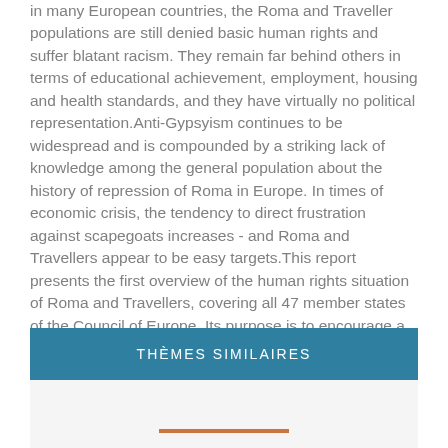in many European countries, the Roma and Traveller populations are still denied basic human rights and suffer blatant racism. They remain far behind others in terms of educational achievement, employment, housing and health standards, and they have virtually no political representation.Anti-Gypsyism continues to be widespread and is compounded by a striking lack of knowledge among the general population about the history of repression of Roma in Europe. In times of economic crisis, the tendency to direct frustration against scapegoats increases - and Roma and Travellers appear to be easy targets.This report presents the first overview of the human rights situation of Roma and Travellers, covering all 47 member states of the Council of Europe. Its purpose is to encourage a constructive discussion about policies towards Roma and Travellers in Europe today, focusing on what must be done in order to put an end to the discrimination and marginalisation they suffer.
THÈMES SIMILAIRES